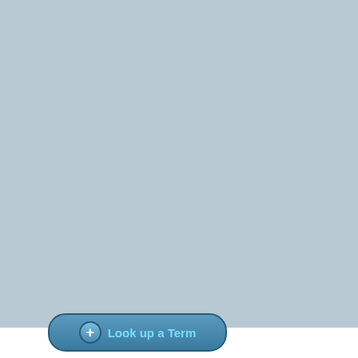Richard - there is a course with August 12:
Climate Change - University of... "This course develops an inte... economic and scientific persp... Instructors: Professor Jon Ba... Jamieson, Dr. Maurizio Tosca...
And, while on the subject of a... I already signed up for. It star...
Energy, the Environment and... "Get Rich and Save the Earth... possible futures of human en... Instructor: Richard B. Alley
9. Paul D at 18:54 PM on 4 Aug... I think the Richard Alley cours...
10. Richard Komorowski at 10... Thanks for the info, Baerbel.